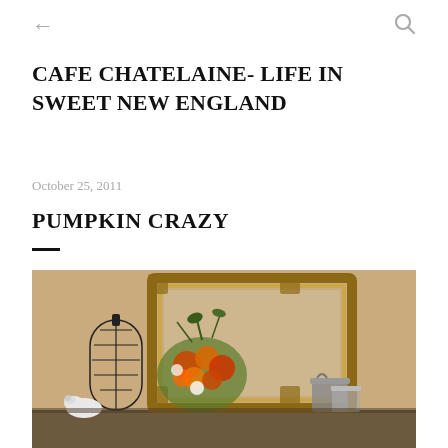← (back arrow)   (search icon)
CAFE CHATELAINE- LIFE IN SWEET NEW ENGLAND
October 25, 2011
PUMPKIN CRAZY
[Figure (photo): Autumn mantle decoration with a gold ornate frame, black wire birdcage, white dove figurine, orange and red floral arrangement, and metallic containers on a surface against a beige wall.]